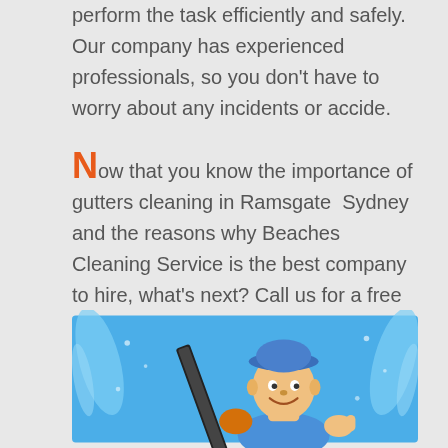perform the task efficiently and safely. Our company has experienced professionals, so you don't have to worry about any incidents or accide.
Now that you know the importance of gutters cleaning in Ramsgate Sydney and the reasons why Beaches Cleaning Service is the best company to hire, what's next? Call us for a free consultation.
[Figure (illustration): Cartoon illustration of a smiling male cleaner wearing a blue cap, holding a squeegee/window cleaning tool, with a blue sky and water splash background.]